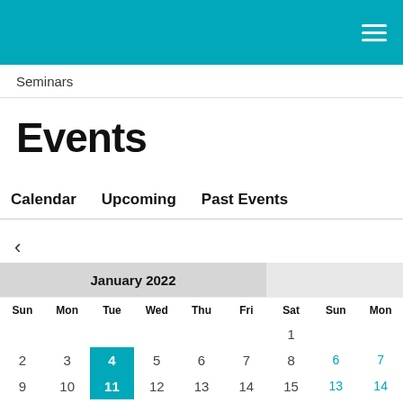≡
Seminars
Events
Calendar   Upcoming   Past Events
‹
| Sun | Mon | Tue | Wed | Thu | Fri | Sat | Sun | Mon |
| --- | --- | --- | --- | --- | --- | --- | --- | --- |
|  |  |  |  |  |  | 1 |  |  |
| 2 | 3 | 4 | 5 | 6 | 7 | 8 | 6 | 7 |
| 9 | 10 | 11 | 12 | 13 | 14 | 15 | 13 | 14 |